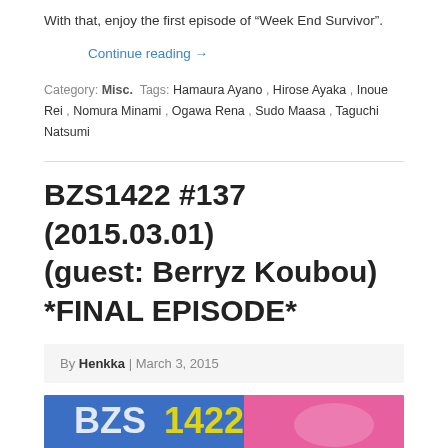Script written by Goto Toshinari.
With that, enjoy the first episode of “Week End Survivor”.
Continue reading →
Category: Misc. Tags: Hamaura Ayano , Hirose Ayaka , Inoue Rei , Nomura Minami , Ogawa Rena , Sudo Maasa , Taguchi Natsumi
BZS1422 #137 (2015.03.01) (guest: Berryz Koubou) *FINAL EPISODE*
By Henkka | March 3, 2015
[Figure (photo): Photo related to BZS1422 episode with Berryz Koubou, showing colorful text/logo and people]